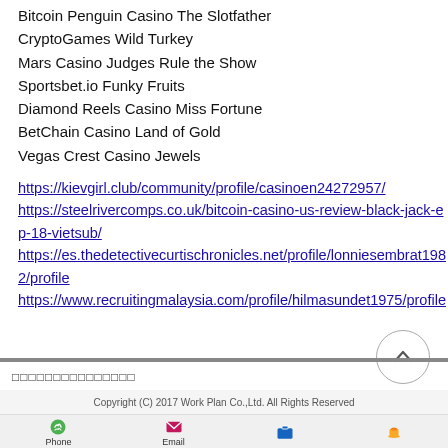Bitcoin Penguin Casino The Slotfather
CryptoGames Wild Turkey
Mars Casino Judges Rule the Show
Sportsbet.io Funky Fruits
Diamond Reels Casino Miss Fortune
BetChain Casino Land of Gold
Vegas Crest Casino Jewels
https://kievgirl.club/community/profile/casinoen24272957/ https://steelrivercomps.co.uk/bitcoin-casino-us-review-black-jack-ep-18-vietsub/ https://es.thedetectivecurtischronicles.net/profile/lonniesembrat1982/profile https://www.recruitingmalaysia.com/profile/hilmasundet1975/profile
Copyright (C) 2017 Work Plan Co.,Ltd. All Rights Reserved